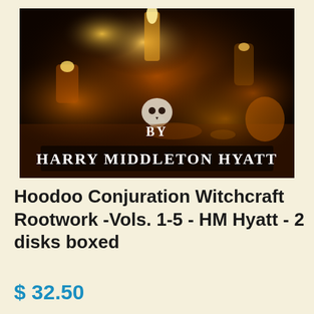[Figure (photo): Dark atmospheric photo of a hoodoo/occult altar with candles, a skull, bottles, and ritual items. Text overlay reads 'BY HARRY MIDDLETON HYATT' in white bold serif font against the dark background.]
Hoodoo Conjuration Witchcraft Rootwork -Vols. 1-5 - HM Hyatt - 2 disks boxed
$ 32.50